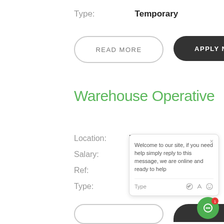Type:   Temporary
[Figure (screenshot): Two UI buttons: 'READ MORE' (outline) and 'APPLY NOW' (dark filled)]
Warehouse Operative
Location:   Lutterworth
Salary:   £12.09 per hour
Ref:   JS10092021
Type:   Temporary
[Figure (screenshot): Chat widget popup: 'Welcome to our site, if you need help simply reply to this message, we are online and ready to help' with Type input row and emoji/attachment icons]